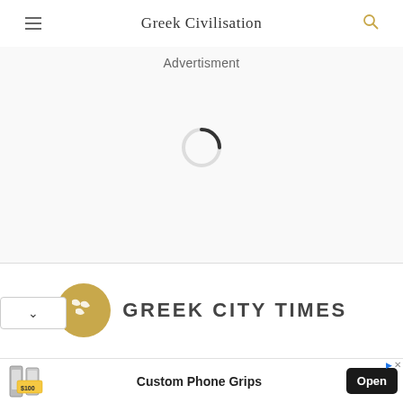Greek Civilisation
Advertisment
[Figure (other): Loading spinner (circular progress indicator)]
[Figure (logo): Greek City Times logo with golden circular emblem and text]
Custom Phone Grips